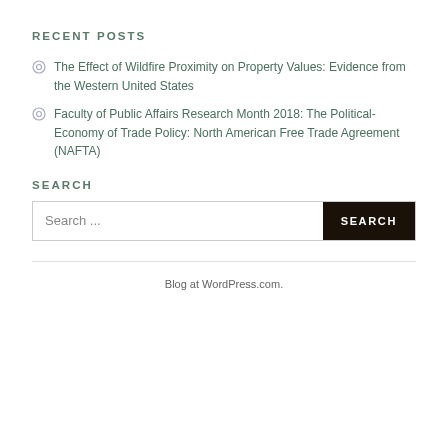RECENT POSTS
The Effect of Wildfire Proximity on Property Values: Evidence from the Western United States
Faculty of Public Affairs Research Month 2018: The Political-Economy of Trade Policy: North American Free Trade Agreement (NAFTA)
SEARCH
Search ...
Blog at WordPress.com.